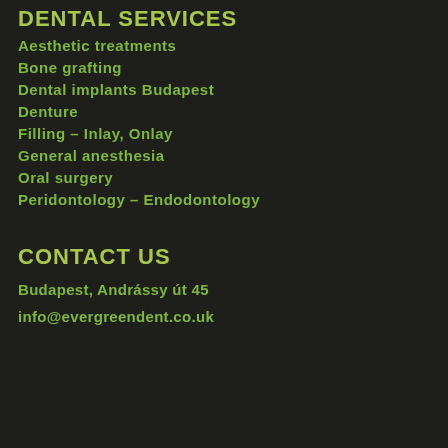DENTAL SERVICES
Aesthetic treatments
Bone grafting
Dental implants Budapest
Denture
Filling – Inlay, Onlay
General anesthesia
Oral surgery
Peridontology – Endodontology
CONTACT US
Budapest, Andrássy út 45
info@evergreendent.co.uk